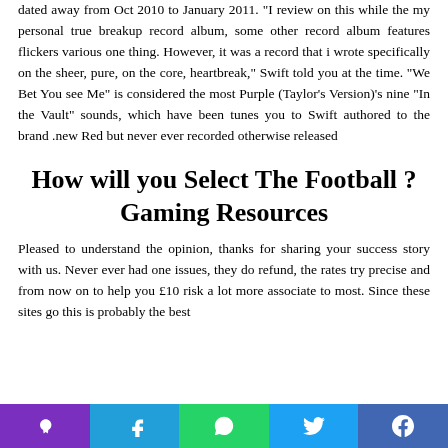dated away from Oct 2010 to January 2011. “I review on this while the my personal true breakup record album, some other record album features flickers various one thing. However, it was a record that i wrote specifically on the sheer, pure, on the core, heartbreak,” Swift told you at the time. “We Bet You see Me” is considered the most Purple (Taylor’s Version)’s nine “In the Vault” sounds, which have been tunes you to Swift authored to the brand .new Red but never ever recorded otherwise released
How will you Select The Football ?Gaming Resources
Pleased to understand the opinion, thanks for sharing your success story with us. Never ever had one issues, they do refund, the rates try precise and from now on to help you £10 risk a lot more associate to most. Since these sites go this is probably the best